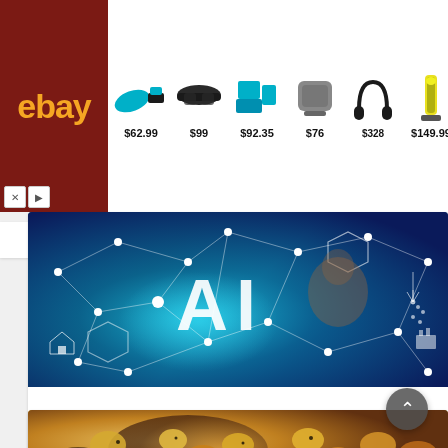[Figure (screenshot): eBay advertisement banner showing product images with prices: saw/tool $62.99, sunglasses $99, drill kit $92.35, speaker $76, headphones $328 (partially obscured), vacuum $149.99. eBay logo on dark red background on left.]
[Figure (photo): AI concept image with large 'AI' text overlay on a background of neural network nodes and connections in blue/teal tones with a person visible in background]
ARTIFICIAL INTELLIGENCE IN DIGITAL MARKETING : 5 WAYS OF GENERATING...
2 Years Ago
[Figure (photo): Partial food photo showing roasted potatoes and meat dish with seasoning, bottom of page]